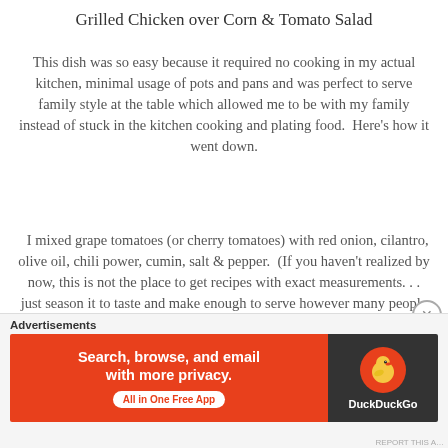Grilled Chicken over Corn & Tomato Salad
This dish was so easy because it required no cooking in my actual kitchen, minimal usage of pots and pans and was perfect to serve family style at the table which allowed me to be with my family instead of stuck in the kitchen cooking and plating food.  Here's how it went down.
I mixed grape tomatoes (or cherry tomatoes) with red onion, cilantro, olive oil, chili power, cumin, salt & pepper.  (If you haven't realized by now, this is not the place to get recipes with exact measurements. . . just season it to taste and make enough to serve however many people you're feeding.  I did this step when I woke up Sunday morning so it would be one less thing to do when lunch came around.
Advertisements
[Figure (screenshot): DuckDuckGo advertisement banner: orange left panel with text 'Search, browse, and email with more privacy. All in One Free App' and dark right panel with DuckDuckGo duck logo and brand name.]